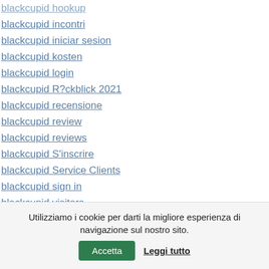blackcupid hookup
blackcupid incontri
blackcupid iniciar sesion
blackcupid kosten
blackcupid login
blackcupid R?ckblick 2021
blackcupid recensione
blackcupid review
blackcupid reviews
blackcupid S'inscrire
blackcupid Service Clients
blackcupid sign in
blackcupid visitors
Blackcupid web
blackcupid Zaloguj si?
blackcupid Zapisz sie
Utilizziamo i cookie per darti la migliore esperienza di navigazione sul nostro sito. Accetta Leggi tutto